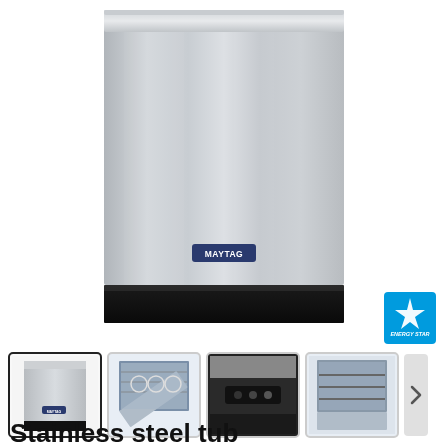[Figure (photo): Front view of a Maytag stainless steel dishwasher with a silver door panel and black base kickplate. The Maytag logo badge is visible near the bottom of the door.]
[Figure (photo): Energy Star certified badge in blue and green]
[Figure (photo): Row of four product thumbnail images of the Maytag dishwasher: front view (selected/active), interior open view with dishes, close-up of control panel, and interior open view from another angle. A right-arrow navigation button is at the end.]
Stainless steel tub